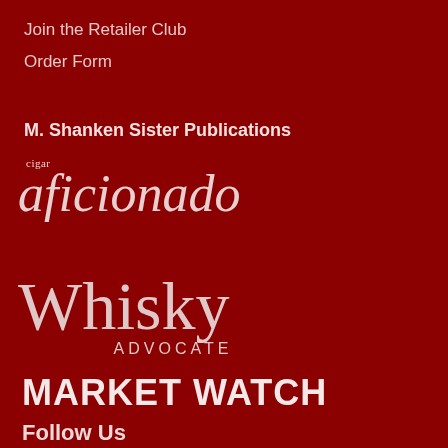Join the Retailer Club
Order Form
M. Shanken Sister Publications
[Figure (logo): Cigar Aficionado magazine logo in white/light pink on dark red background]
[Figure (logo): Whisky Advocate magazine logo in white/light pink on dark red background]
[Figure (logo): Market Watch logo in bold white text on dark red background]
Follow Us